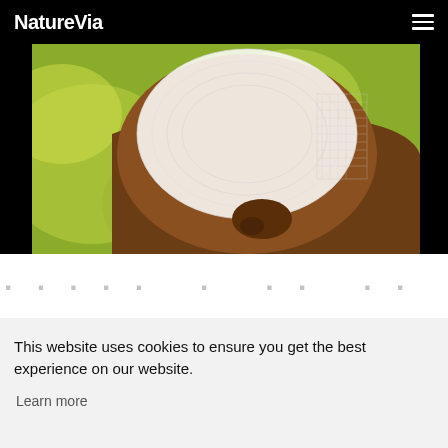NatureVia
[Figure (photo): Close-up photograph of a pregnant woman's belly covered with white lace fabric, hands cradling the bump, green bokeh background]
...belly
This website uses cookies to ensure you get the best experience on our website.
Learn more